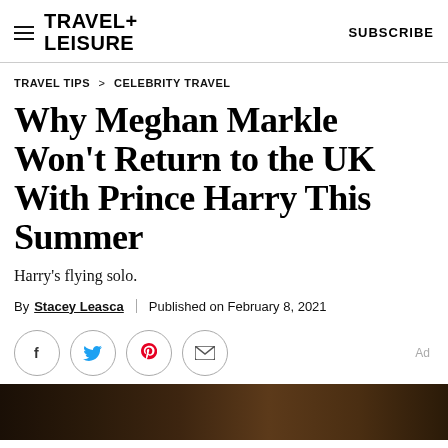TRAVEL+ LEISURE   SUBSCRIBE
TRAVEL TIPS > CELEBRITY TRAVEL
Why Meghan Markle Won't Return to the UK With Prince Harry This Summer
Harry's flying solo.
By Stacey Leasca | Published on February 8, 2021
[Figure (other): Social share buttons for Facebook, Twitter, Pinterest, and Email; Ad label on the right]
[Figure (photo): Partial view of a dark photo at the bottom of the page]